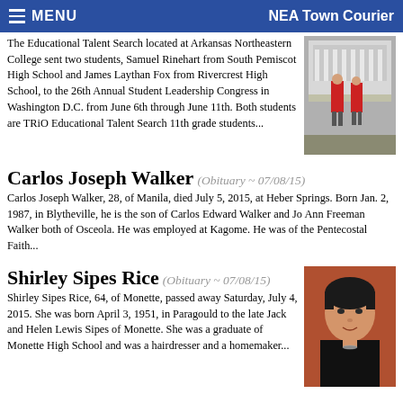MENU   NEA Town Courier
The Educational Talent Search located at Arkansas Northeastern College sent two students, Samuel Rinehart from South Pemiscot High School and James Laythan Fox from Rivercrest High School, to the 26th Annual Student Leadership Congress in Washington D.C. from June 6th through June 11th. Both students are TRiO Educational Talent Search 11th grade students...
[Figure (photo): Two students in red jackets standing in front of a building with columns (US Capitol area)]
Carlos Joseph Walker
(Obituary ~ 07/08/15)
Carlos Joseph Walker, 28, of Manila, died July 5, 2015, at Heber Springs. Born Jan. 2, 1987, in Blytheville, he is the son of Carlos Edward Walker and Jo Ann Freeman Walker both of Osceola. He was employed at Kagome. He was of the Pentecostal Faith...
Shirley Sipes Rice
(Obituary ~ 07/08/15)
Shirley Sipes Rice, 64, of Monette, passed away Saturday, July 4, 2015. She was born April 3, 1951, in Paragould to the late Jack and Helen Lewis Sipes of Monette. She was a graduate of Monette High School and was a hairdresser and a homemaker...
[Figure (photo): Portrait photo of a woman with short dark hair against a reddish background]